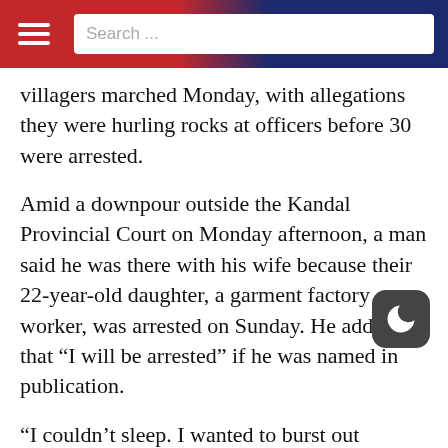Search ...
villagers marched Monday, with allegations they were hurling rocks at officers before 30 were arrested.
Amid a downpour outside the Kandal Provincial Court on Monday afternoon, a man said he was there with his wife because their 22-year-old daughter, a garment factory worker, was arrested on Sunday. He added that “I will be arrested” if he was named in publication.
“I couldn’t sleep. I wanted to burst out crying,” the man said of the night after his daughter’s arrest. “It’s our land and we’ve been jailed for our la
The villagers were angry, he said. But he said he was also annoyed at the children who had hurled rocks at officers. “They couldn’t control their